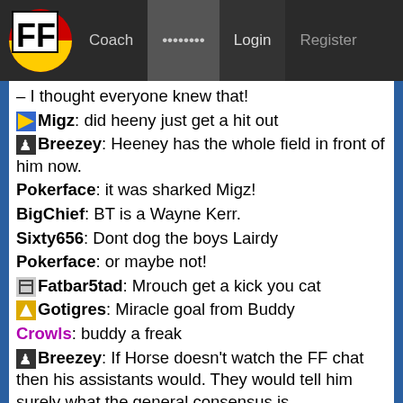FF  Coach  ••••••••  Login  Register
– I thought everyone knew that!
Migz: did heeny just get a hit out
Breezey: Heeney has the whole field in front of him now.
Pokerface: it was sharked Migz!
BigChief: BT is a Wayne Kerr.
Sixty656: Dont dog the boys Lairdy
Pokerface: or maybe not!
Fatbar5tad: Mrouch get a kick you cat
Gotigres: Miracle goal from Buddy
Crowls: buddy a freak
Breezey: If Horse doesn't watch the FF chat then his assistants would. They would tell him surely what the general consensus is
J.Worrall: There are many Wayne Kerrs about, Chief!
SydneyRox: what a surprise Heeney in